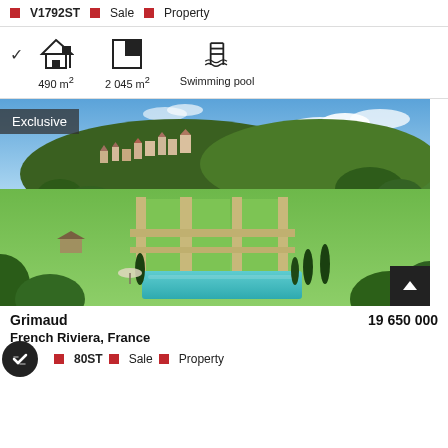V1792ST  Sale  Property
490 m²  2 045 m²  Swimming pool
[Figure (photo): Aerial drone photo of a Provençal estate in Grimaud, French Riviera, showing a large green formal garden with a rectangular swimming pool flanked by cypress trees, surrounded by lush woodland, with a hilltop village behind under blue sky. An 'Exclusive' badge overlays the top-left corner.]
Grimaud    19 650 000
French Riviera, France
80ST  Sale  Property